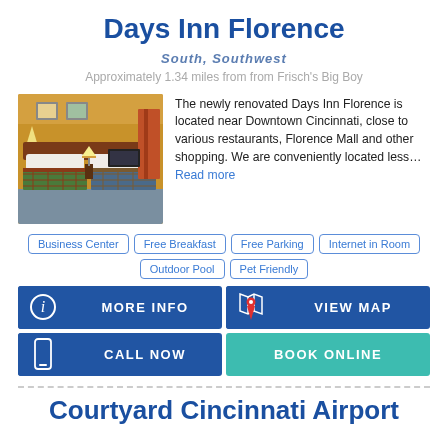Days Inn Florence
SOUTH, SOUTHWEST
Approximately 1.34 miles from from Frisch's Big Boy
[Figure (photo): Hotel room with two beds, yellow walls, and colorful bedspreads]
The newly renovated Days Inn Florence is located near Downtown Cincinnati, close to various restaurants, Florence Mall and other shopping. We are conveniently located less... Read more
Business Center
Free Breakfast
Free Parking
Internet in Room
Outdoor Pool
Pet Friendly
MORE INFO
VIEW MAP
CALL NOW
BOOK ONLINE
Courtyard Cincinnati Airport